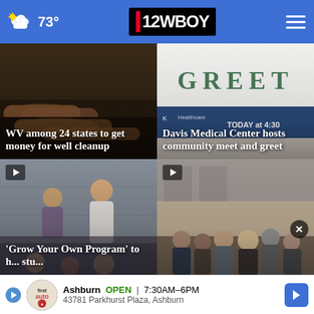73° | 12WBOY
[Figure (screenshot): News card: rusted pipes/barrels on ground with text overlay 'WV among 24 states to get money for well cleanup']
WV among 24 states to get money for well cleanup
[Figure (screenshot): News card: GREET sign with Davis Medical Center branding, text overlay 'Davis Medical Center hosts community meet and greet']
Davis Medical Center hosts community meet and greet
[Figure (screenshot): Video news card: women presenting in a classroom or auditorium, text overlay "'Grow Your Own Program' to h... stu..."]
'Grow Your Own Program' to h... stu...
[Figure (screenshot): Video news card: group of people standing outside a building]
Ashburn OPEN 7:30AM–6PM 43781 Parkhurst Plaza, Ashburn